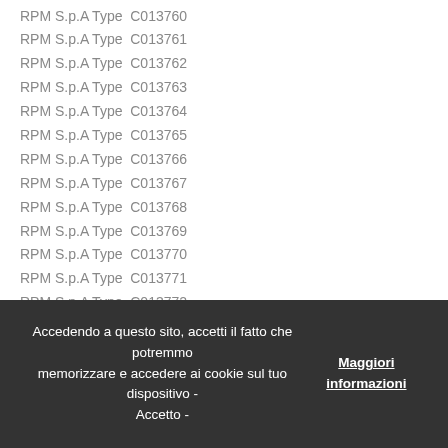RPM S.p.A Type  C013760
RPM S.p.A Type  C013761
RPM S.p.A Type  C013762
RPM S.p.A Type  C013763
RPM S.p.A Type  C013764
RPM S.p.A Type  C013765
RPM S.p.A Type  C013766
RPM S.p.A Type  C013767
RPM S.p.A Type  C013768
RPM S.p.A Type  C013769
RPM S.p.A Type  C013770
RPM S.p.A Type  C013771
RPM S.p.A Type  C013772
RPM S.p.A Type  C013773
RPM S.p.A Type  C013774
Accedendo a questo sito, accetti il fatto che potremmo memorizzare e accedere ai cookie sul tuo dispositivo - Accetto - Maggiori informazioni